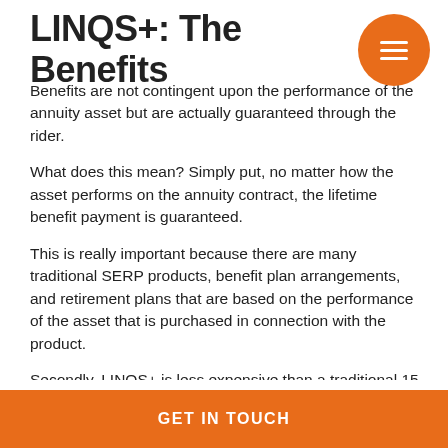LINQS+: The Benefits
Benefits are not contingent upon the performance of the annuity asset but are actually guaranteed through the rider.
What does this mean? Simply put, no matter how the asset performs on the annuity contract, the lifetime benefit payment is guaranteed.
This is really important because there are many traditional SERP products, benefit plan arrangements, and retirement plans that are based on the performance of the asset that is purchased in connection with the product.
Secondly, LINQS+ is less expensive than a traditional 15 year SERP. This benefit will also be paid to you for life at the exact amount that was promised.
Additionally, LINQS+ also includes a combination with...
GET IN TOUCH